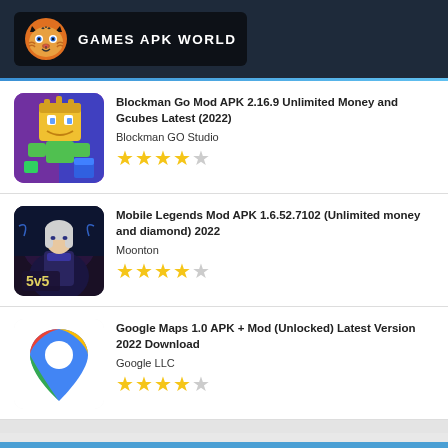GAMES APK WORLD
Blockman Go Mod APK 2.16.9 Unlimited Money and Gcubes Latest (2022)
Blockman GO Studio
★★★★☆
Mobile Legends Mod APK 1.6.52.7102 (Unlimited money and diamond) 2022
Moonton
★★★★☆
Google Maps 1.0 APK + Mod (Unlocked) Latest Version 2022 Download
Google LLC
★★★★☆